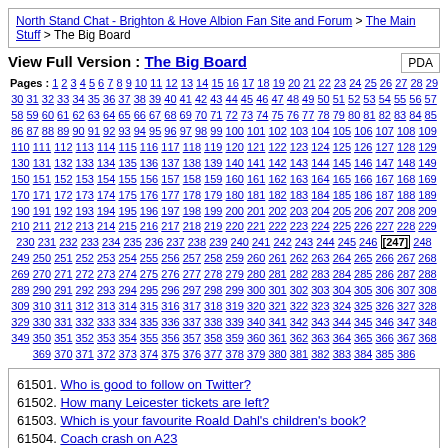North Stand Chat - Brighton & Hove Albion Fan Site and Forum > The Main Stuff > The Big Board
View Full Version : The Big Board
Pages : 1 2 3 4 5 6 7 8 9 10 11 12 13 14 15 16 17 18 19 20 21 22 23 24 25 26 27 28 29 30 31 32 33 34 35 36 37 38 39 40 41 42 43 44 45 46 47 48 49 50 51 52 53 54 55 56 57 58 59 60 61 62 63 64 65 66 67 68 69 70 71 72 73 74 75 76 77 78 79 80 81 82 83 84 85 86 87 88 89 90 91 92 93 94 95 96 97 98 99 100 101 102 103 104 105 106 107 108 109 110 111 112 113 114 115 116 117 118 119 120 121 122 123 124 125 126 127 128 129 130 131 132 133 134 135 136 137 138 139 140 141 142 143 144 145 146 147 148 149 150 151 152 153 154 155 156 157 158 159 160 161 162 163 164 165 166 167 168 169 170 171 172 173 174 175 176 177 178 179 180 181 182 183 184 185 186 187 188 189 190 191 192 193 194 195 196 197 198 199 200 201 202 203 204 205 206 207 208 209 210 211 212 213 214 215 216 217 218 219 220 221 222 223 224 225 226 227 228 229 230 231 232 233 234 235 236 237 238 239 240 241 242 243 244 245 246 [247] 248 249 250 251 252 253 254 255 256 257 258 259 260 261 262 263 264 265 266 267 268 269 270 271 272 273 274 275 276 277 278 279 280 281 282 283 284 285 286 287 288 289 290 291 292 293 294 295 296 297 298 299 300 301 302 303 304 305 306 307 308 309 310 311 312 313 314 315 316 317 318 319 320 321 322 323 324 325 326 327 328 329 330 331 332 333 334 335 336 337 338 339 340 341 342 343 344 345 346 347 348 349 350 351 352 353 354 355 356 357 358 359 360 361 362 363 364 365 366 367 368 369 370 371 372 373 374 375 376 377 378 379 380 381 382 383 384 385 386
61501. Who is good to follow on Twitter?
61502. How many Leicester tickets are left?
61503. Which is your favourite Roald Dahl's children's book?
61504. Coach crash on A23
61505. Stockdale turns out to be the real judge